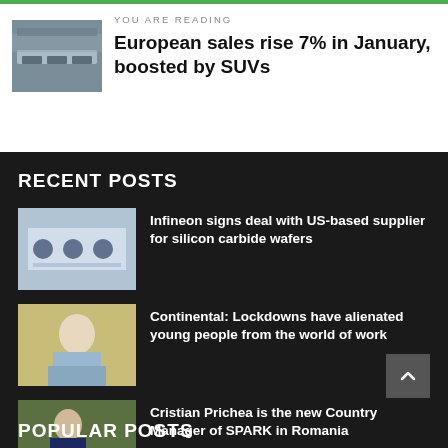YOU ARE READING
European sales rise 7% in January, boosted by SUVs
RECENT POSTS
[Figure (photo): Industrial factory interior with cars on assembly line]
Infineon signs deal with US-based supplier for silicon carbide wafers
[Figure (photo): Person in lab or industrial setting with blue uniforms]
Continental: Lockdowns have alienated young people from the world of work
[Figure (photo): Woman in light blue shirt standing outdoors]
Cristian Prichea is the new Country Manager of SPARK in Romania
[Figure (photo): Man in suit standing next to a white car]
POPULAR POSTS